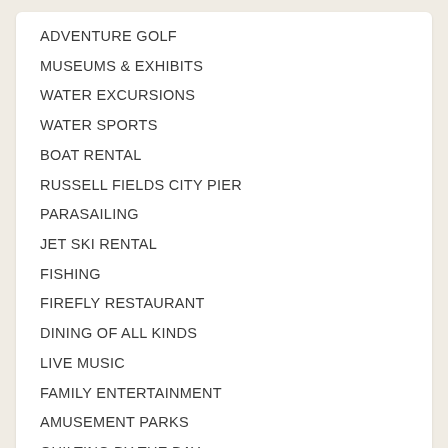ADVENTURE GOLF
MUSEUMS & EXHIBITS
WATER EXCURSIONS
WATER SPORTS
BOAT RENTAL
RUSSELL FIELDS CITY PIER
PARASAILING
JET SKI RENTAL
FISHING
FIREFLY RESTAURANT
DINING OF ALL KINDS
LIVE MUSIC
FAMILY ENTERTAINMENT
AMUSEMENT PARKS
QUILTING BY THE BAY
BEACH LIFE
... JUST ASK!
Reviews (6)